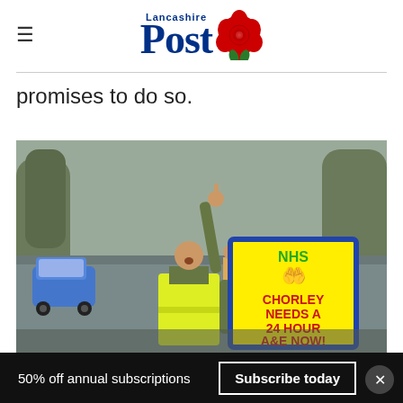Lancashire Post
promises to do so.
[Figure (photo): A man in a high-visibility yellow jacket standing on a road, one arm raised with index finger pointing up, holding a yellow sign with blue border that reads 'NHS CHORLEY NEEDS A 24 HOUR A&E NOW!' in red text. Street scene with cars and trees in background.]
50% off annual subscriptions  Subscribe today  ×